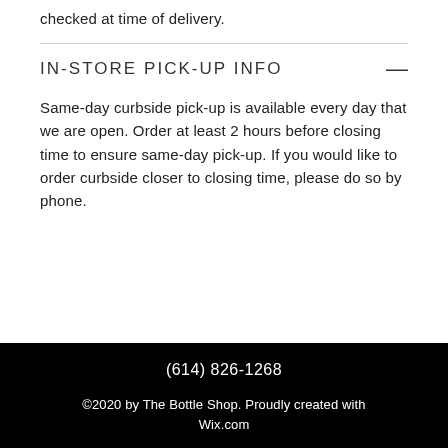checked at time of delivery.
IN-STORE PICK-UP INFO
Same-day curbside pick-up is available every day that we are open. Order at least 2 hours before closing time to ensure same-day pick-up. If you would like to order curbside closer to closing time, please do so by phone.
(614) 826-1268
©2020 by The Bottle Shop. Proudly created with Wix.com